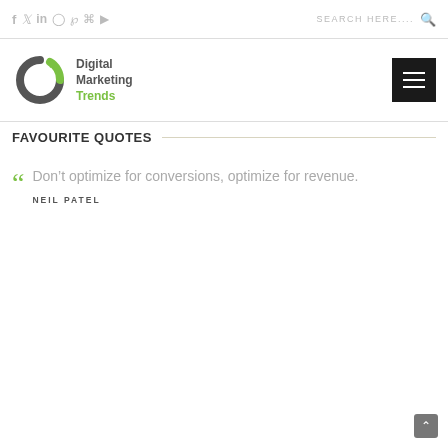Social icons: f, Twitter, in, Instagram, Pinterest, RSS, YouTube | SEARCH HERE....
[Figure (logo): Digital Marketing Trends logo — circular arrow icon in dark grey and green, with text 'Digital Marketing Trends' beside it]
FAVOURITE QUOTES
Don't optimize for conversions, optimize for revenue.
NEIL PATEL